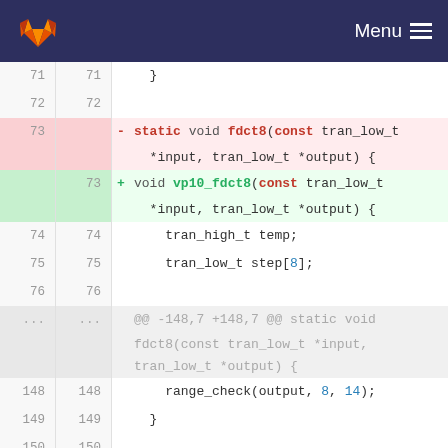[Figure (screenshot): GitLab header bar with orange fox logo and Menu hamburger icon on dark navy background]
71  71      }
72  72
73     - static void fdct8(const tran_low_t *input, tran_low_t *output) {
    73  + void vp10_fdct8(const tran_low_t *input, tran_low_t *output) {
74  74      tran_high_t temp;
75  75      tran_low_t step[8];
76  76
... ...  @@ -148,7 +148,7 @@ static void fdct8(const tran_low_t *input, tran_low_t *output) {
148 148      range_check(output, 8, 14);
149 149      }
150 150
151    - static void fdct16(const tran_low_t *input, tran_low_t *output) {
    151 + void vp10_fdct16(const tran_low_t *input, tran_low_t *output) {
152 152      tran_high_t temp;